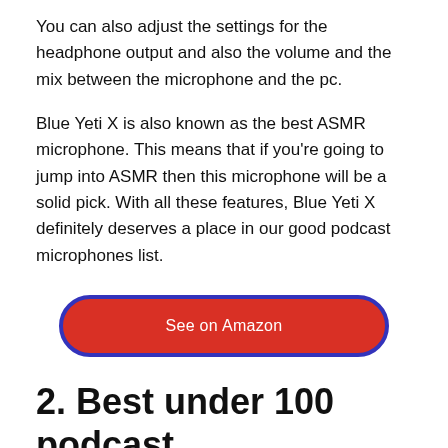You can also adjust the settings for the headphone output and also the volume and the mix between the microphone and the pc.
Blue Yeti X is also known as the best ASMR microphone. This means that if you're going to jump into ASMR then this microphone will be a solid pick. With all these features, Blue Yeti X definitely deserves a place in our good podcast microphones list.
[Figure (other): Red rounded button with blue border labeled 'See on Amazon']
2. Best under 100 podcast microphones in 2022:
This category includes the best podcast microphones but